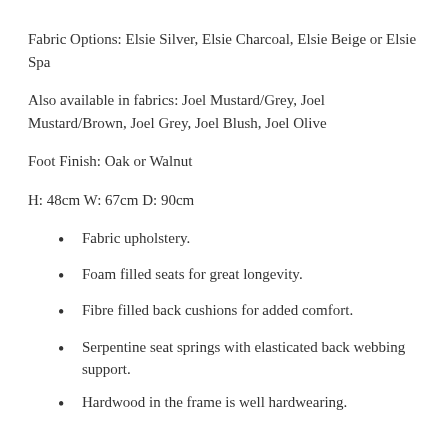Fabric Options: Elsie Silver, Elsie Charcoal, Elsie Beige or Elsie Spa
Also available in fabrics: Joel Mustard/Grey, Joel Mustard/Brown, Joel Grey, Joel Blush, Joel Olive
Foot Finish: Oak or Walnut
H: 48cm W: 67cm D: 90cm
Fabric upholstery.
Foam filled seats for great longevity.
Fibre filled back cushions for added comfort.
Serpentine seat springs with elasticated back webbing support.
Hardwood in the frame is well hardwearing.